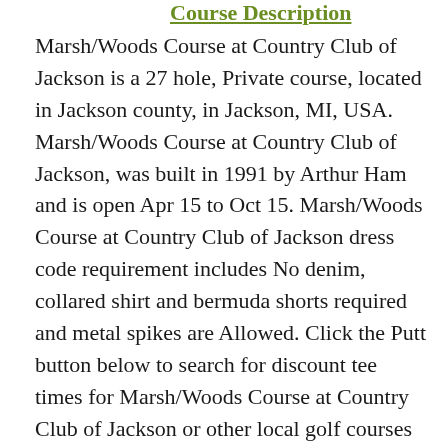Course Description
Marsh/Woods Course at Country Club of Jackson is a 27 hole, Private course, located in Jackson county, in Jackson, MI, USA. Marsh/Woods Course at Country Club of Jackson, was built in 1991 by Arthur Ham and is open Apr 15 to Oct 15. Marsh/Woods Course at Country Club of Jackson dress code requirement includes No denim, collared shirt and bermuda shorts required and metal spikes are Allowed. Click the Putt button below to search for discount tee times for Marsh/Woods Course at Country Club of Jackson or other local golf courses in Jackson County, near Jackson, MI.